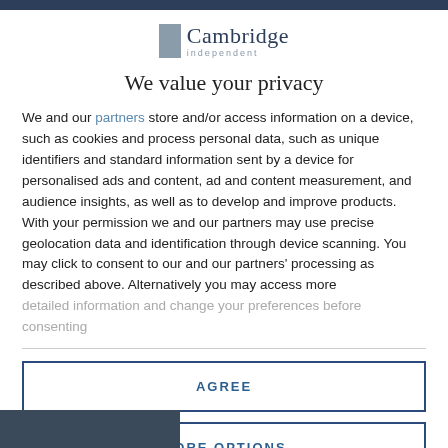[Figure (logo): Cambridge Independent logo with grey rectangle icon and text 'Cambridge' and 'independent' below]
We value your privacy
We and our partners store and/or access information on a device, such as cookies and process personal data, such as unique identifiers and standard information sent by a device for personalised ads and content, ad and content measurement, and audience insights, as well as to develop and improve products. With your permission we and our partners may use precise geolocation data and identification through device scanning. You may click to consent to our and our partners' processing as described above. Alternatively you may access more detailed information and change your preferences before consenting
AGREE
MORE OPTIONS